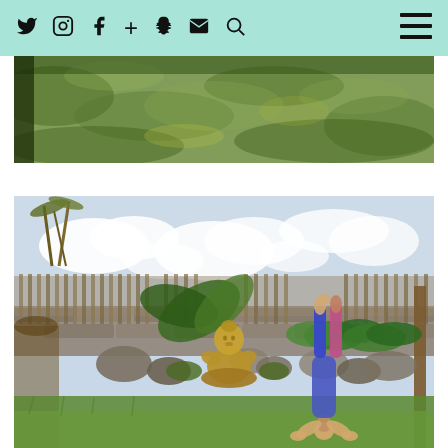Social media navigation bar with icons: Twitter, Instagram, Facebook, Plus, Snapchat, Email, Search, and hamburger menu
[Figure (photo): Close-up aerial photo of lush green grass, viewed from above, filling the full width of the image]
[Figure (photo): Outdoor yoga scene: a person doing a headstand on green grass in a garden, with a Buddha statue, tropical plants, stone wall, and cloudy blue sky in the background]